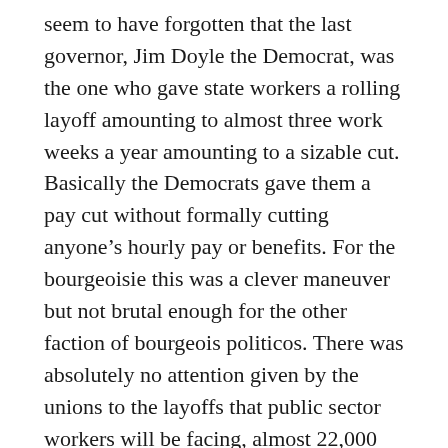seem to have forgotten that the last governor, Jim Doyle the Democrat, was the one who gave state workers a rolling layoff amounting to almost three work weeks a year amounting to a sizable cut. Basically the Democrats gave them a pay cut without formally cutting anyone's hourly pay or benefits. For the bourgeoisie this was a clever maneuver but not brutal enough for the other faction of bourgeois politicos. There was absolutely no attention given by the unions to the layoffs that public sector workers will be facing, almost 22,000 people will lose their jobs and they are told to wait until the recall elections. There was no protest over the gutting of tax credits to the poorest workers in the state in both the public and private sectors either.
The university system is now messing with payroll data